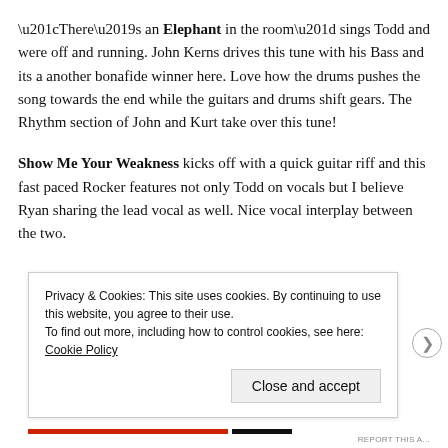“There’s an Elephant in the room” sings Todd and were off and running. John Kerns drives this tune with his Bass and its a another bonafide winner here. Love how the drums pushes the song towards the end while the guitars and drums shift gears. The Rhythm section of John and Kurt take over this tune!
Show Me Your Weakness kicks off with a quick guitar riff and this fast paced Rocker features not only Todd on vocals but I believe Ryan sharing the lead vocal as well. Nice vocal interplay between the two.
Privacy & Cookies: This site uses cookies. By continuing to use this website, you agree to their use. To find out more, including how to control cookies, see here: Cookie Policy
Close and accept